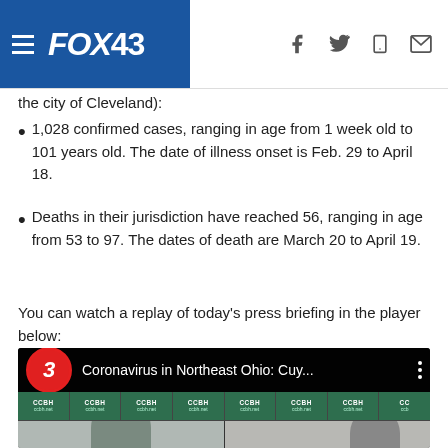FOX43
the city of Cleveland):
1,028 confirmed cases, ranging in age from 1 week old to 101 years old. The date of illness onset is Feb. 29 to April 18.
Deaths in their jurisdiction have reached 56, ranging in age from 53 to 97. The dates of death are March 20 to April 19.
You can watch a replay of today's press briefing in the player below:
[Figure (screenshot): Video thumbnail showing a YouTube-style player for 'Coronavirus in Northeast Ohio: Cuy...' with Channel 3 badge and CCBH press conference backdrop]